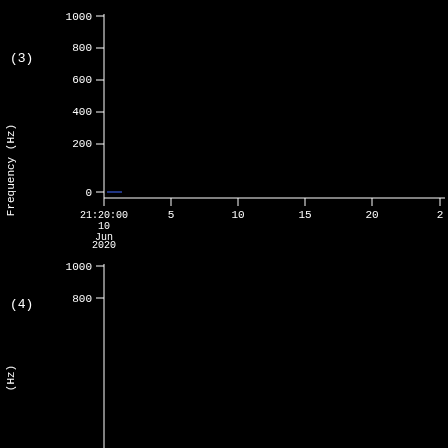[Figure (continuous-plot): Spectrogram plot (3) showing Frequency (Hz) on y-axis from 0 to 1000, and time on x-axis starting at 21:20:00 on 10 Jun 2020. Nearly empty plot with a faint blue mark near 0 Hz at the start. X-axis ticks at 5, 10, 15, 20 minute intervals.]
[Figure (continuous-plot): Spectrogram plot (4) showing Frequency (Hz) on y-axis, y-axis starts at 800 visible, top at 1000. Mostly empty black plot. Partial view cut off at bottom of page.]